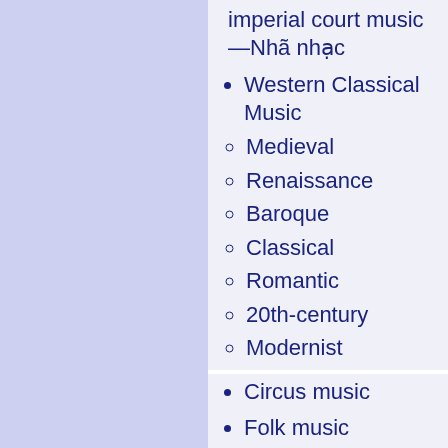imperial court music—Nhã nhạc
Western Classical Music
Medieval
Renaissance
Baroque
Classical
Romantic
20th-century
Modernist
Contemporary
Postmodernist
21st century
Circus music
Folk music